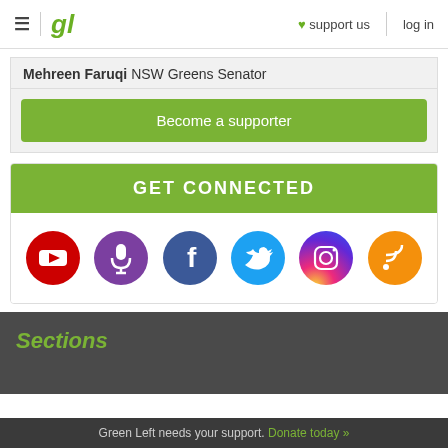gl  ♥ support us  log in
Mehreen Faruqi NSW Greens Senator
Become a supporter
GET CONNECTED
[Figure (infographic): Six social media icons in circles: YouTube (red), Podcast/microphone (purple), Facebook (dark blue), Twitter (light blue), Instagram (gradient purple-pink-orange), RSS (orange)]
Sections
Green Left needs your support. Donate today »